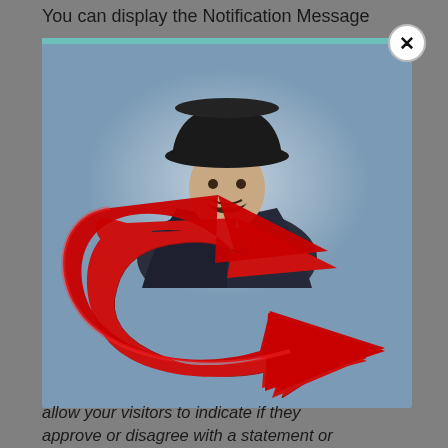You can display the Notification Message
[Figure (screenshot): A modal popup dialog showing a man in a cowboy hat and dark suit with a large red curved arrow pointing downward, on a blue-gray gradient background. A close button (X) appears in the top-right corner.]
allow your visitors to indicate if they approve or disagree with a statement or